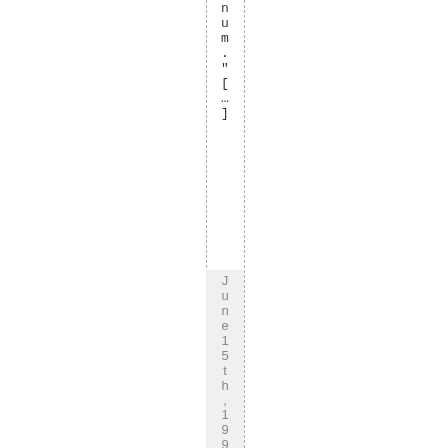num.[...]
June 15th, 1994 Tags: